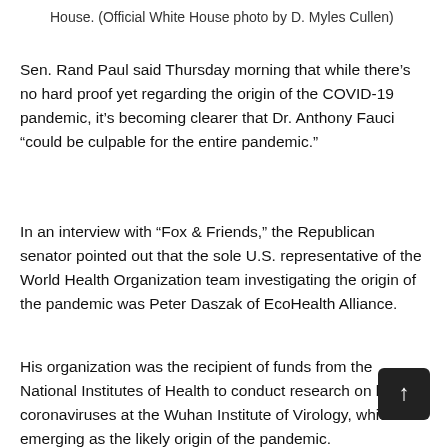House. (Official White House photo by D. Myles Cullen)
Sen. Rand Paul said Thursday morning that while there’s no hard proof yet regarding the origin of the COVID-19 pandemic, it’s becoming clearer that Dr. Anthony Fauci “could be culpable for the entire pandemic.”
In an interview with “Fox & Friends,” the Republican senator pointed out that the sole U.S. representative of the World Health Organization team investigating the origin of the pandemic was Peter Daszak of EcoHealth Alliance.
His organization was the recipient of funds from the National Institutes of Health to conduct research on bat coronaviruses at the Wuhan Institute of Virology, which is emerging as the likely origin of the pandemic.